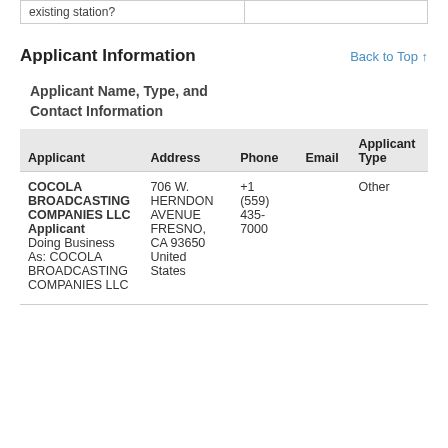|  |  |
| --- | --- |
| existing station? |  |
Applicant Information
Back to Top ↑
Applicant Name, Type, and
Contact Information
| Applicant | Address | Phone | Email | Applicant Type |
| --- | --- | --- | --- | --- |
| COCOLA BROADCASTING COMPANIES LLC
Applicant
Doing Business As: COCOLA BROADCASTING COMPANIES LLC | 706 W. HERNDON AVENUE FRESNO, CA 93650 United States | +1 (559) 435-7000 |  | Other |